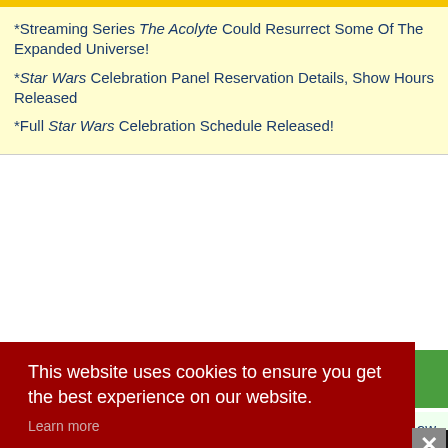*Streaming Series The Acolyte Could Resurrect Some Of The Expanded Universe!
*Star Wars Celebration Panel Reservation Details, Show Hours Released
*Full Star Wars Celebration Schedule Released!
Gaming News
*Xbox Celebrates Star Wars Day
ow
This website uses cookies to ensure you get the best experience on our website.
Learn more
Got it!